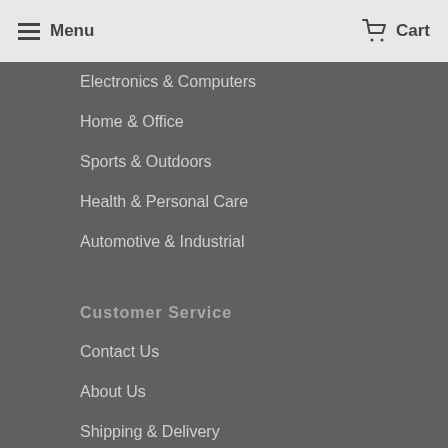Menu  Cart
Electronics & Computers
Home & Office
Sports & Outdoors
Health & Personal Care
Automotive & Industrial
Customer Service
Contact Us
About Us
Shipping & Delivery
Refund Policy
Privacy Policy
Terms
Blog